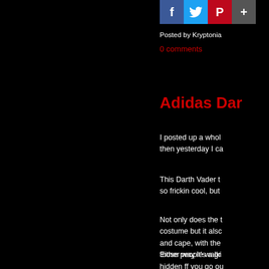[Figure (screenshot): Social media sharing icons: Facebook (blue), Twitter (light blue), Pinterest (red), and one more icon]
Posted by Kryptonia
0 comments
Adidas Dar
I posted up a whol then yesterday I ca
This Darth Vader t so frickin cool, but
Not only does the t costume but it alsc and cape, with the those people walki hidden ff you go ou
Either way it's a gr